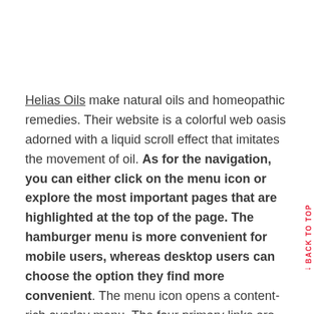Helias Oils make natural oils and homeopathic remedies. Their website is a colorful web oasis adorned with a liquid scroll effect that imitates the movement of oil. As for the navigation, you can either click on the menu icon or explore the most important pages that are highlighted at the top of the page. The hamburger menu is more convenient for mobile users, whereas desktop users can choose the option they find more convenient. The menu icon opens a content-rich overlay menu. The four primary links are highlighted using big, black, bold letters. When you place the pointer on one of them, the color of the